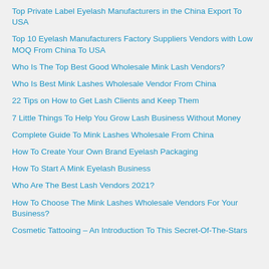Top Private Label Eyelash Manufacturers in the China Export To USA
Top 10 Eyelash Manufacturers Factory Suppliers Vendors with Low MOQ From China To USA
Who Is The Top Best Good Wholesale Mink Lash Vendors?
Who Is Best Mink Lashes Wholesale Vendor From China
22 Tips on How to Get Lash Clients and Keep Them
7 Little Things To Help You Grow Lash Business Without Money
Complete Guide To Mink Lashes Wholesale From China
How To Create Your Own Brand Eyelash Packaging
How To Start A Mink Eyelash Business
Who Are The Best Lash Vendors 2021?
How To Choose The Mink Lashes Wholesale Vendors For Your Business?
Cosmetic Tattooing – An Introduction To This Secret-Of-The-Stars